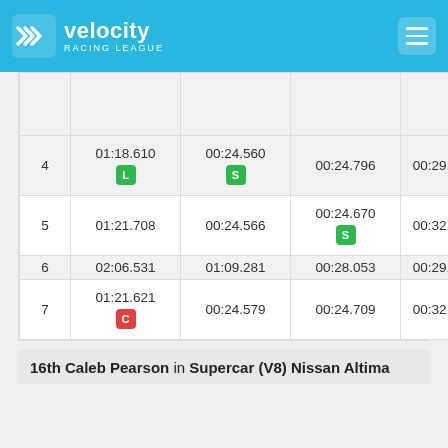Velocity Racing League
| Lap | Lap Time | S1 | S2 | S3 |
| --- | --- | --- | --- | --- |
|  |  |  |  | S |
| 4 | 01:18.610 [L] | 00:24.560 [S] | 00:24.796 | 00:29.25 |
| 5 | 01:21.708 | 00:24.566 | 00:24.670 [S] | 00:32.47 |
| 6 | 02:06.531 | 01:09.281 | 00:28.053 | 00:29.19 |
| 7 | 01:21.621 [C] | 00:24.579 | 00:24.709 | 00:32.33 |
16th Caleb Pearson in Supercar (V8) Nissan Altima